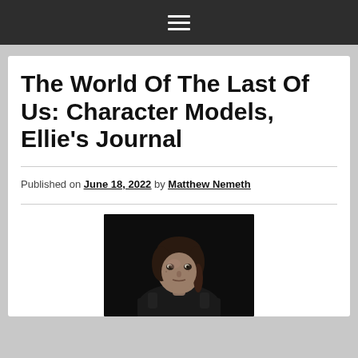≡ (navigation menu icon)
The World Of The Last Of Us: Character Models, Ellie's Journal
Published on June 18, 2022 by Matthew Nemeth
[Figure (photo): Close-up photo of Ellie character model from The Last of Us Part II, dark background, realistic rendering of a young woman with braided hair looking forward with a serious expression]